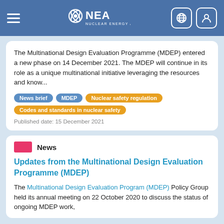NEA Nuclear Energy Agency
The Multinational Design Evaluation Programme (MDEP) entered a new phase on 14 December 2021. The MDEP will continue in its role as a unique multinational initiative leveraging the resources and know...
News brief | MDEP | Nuclear safety regulation | Codes and standards in nuclear safety
Published date: 15 December 2021
News
Updates from the Multinational Design Evaluation Programme (MDEP)
The Multinational Design Evaluation Program (MDEP) Policy Group held its annual meeting on 22 October 2020 to discuss the status of ongoing MDEP work,